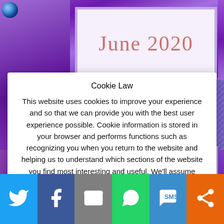[Figure (screenshot): Purple jewel/gem decorative border at top with a framed area showing cursive orange-red text (appears to say 'June 2020' or similar) on a light background]
Cookie Law
This website uses cookies to improve your experience and so that we can provide you with the best user experience possible. Cookie information is stored in your browser and performs functions such as recognizing you when you return to the website and helping us to understand which sections of the website you find most interesting and useful. We'll assume you're ok with this, but you can opt-out if you wish.
Accept   Read More
[Figure (screenshot): Social media share bar at bottom with six buttons: Twitter (blue), Facebook (dark blue), Email (gray), WhatsApp (green), SMS (blue), and More/ShareThis (orange)]